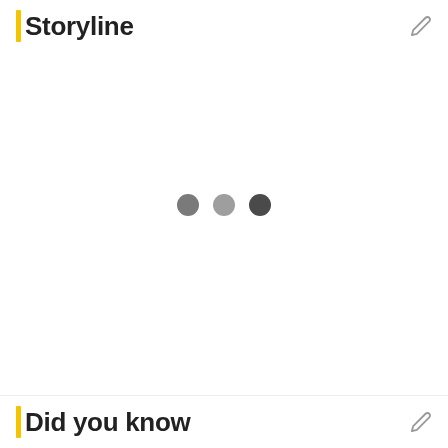Storyline
[Figure (other): Three loading dots (dark gray, medium gray, charcoal) indicating content is loading in the Storyline section]
Did you know